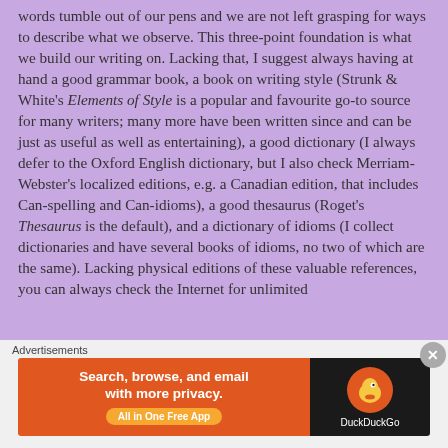words tumble out of our pens and we are not left grasping for ways to describe what we observe. This three-point foundation is what we build our writing on. Lacking that, I suggest always having at hand a good grammar book, a book on writing style (Strunk & White's Elements of Style is a popular and favourite go-to source for many writers; many more have been written since and can be just as useful as well as entertaining), a good dictionary (I always defer to the Oxford English dictionary, but I also check Merriam-Webster's localized editions, e.g. a Canadian edition, that includes Can-spelling and Can-idioms), a good thesaurus (Roget's Thesaurus is the default), and a dictionary of idioms (I collect dictionaries and have several books of idioms, no two of which are the same). Lacking physical editions of these valuable references, you can always check the Internet for unlimited
Advertisements
[Figure (infographic): DuckDuckGo advertisement banner: orange left panel with text 'Search, browse, and email with more privacy. All in One Free App' and a dark right panel with the DuckDuckGo duck logo and brand name.]